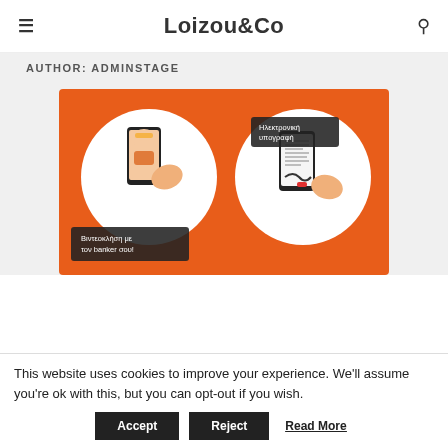Loizou&Co
AUTHOR: ADMINSTAGE
[Figure (illustration): Orange banner illustration showing two circular icons: left circle with a person on a video call on a smartphone with caption 'Βιντεοκλήση με τον banker σου!', right circle with a hand holding a smartphone showing a document with caption 'Ηλεκτρονική υπογραφή']
This website uses cookies to improve your experience. We'll assume you're ok with this, but you can opt-out if you wish.
Accept   Reject   Read More